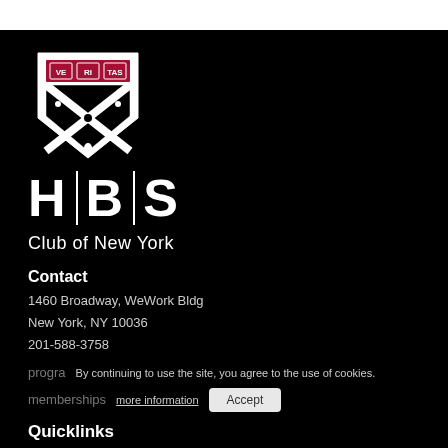[Figure (logo): HBS Harvard Business School shield logo with crimson top bar containing VE RI TAS text and black and white shield design, followed by H|B|S wordmark and 'Club of New York' text]
Contact
1460 Broadway, WeWork Bldg
New York, NY 10036
201-588-3758
By continuing to use the site, you agree to the use of cookies. more information  Accept
prog... memberships...
Quicklinks